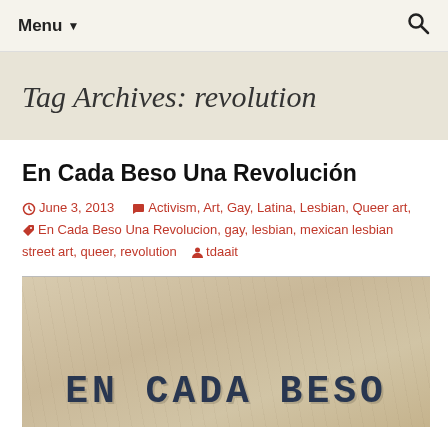Menu ▾   🔍
Tag Archives: revolution
En Cada Beso Una Revolución
June 3, 2013   Activism, Art, Gay, Latina, Lesbian, Queer art, En Cada Beso Una Revolucion, gay, lesbian, mexican lesbian street art, queer, revolution   tdaait
[Figure (photo): Street art stencil on a textured wall reading 'EN CADA BESO' in large dark block letters]